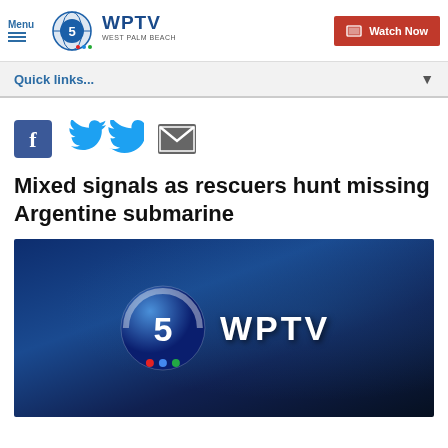Menu | WPTV West Palm Beach | Watch Now
Quick links...
[Figure (other): Social media share icons: Facebook, Twitter, Email]
Mixed signals as rescuers hunt missing Argentine submarine
[Figure (screenshot): WPTV Channel 5 West Palm Beach video thumbnail with logo on dark blue background]